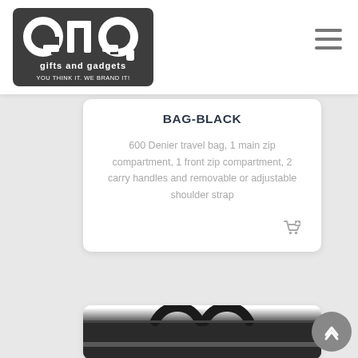[Figure (logo): Gifts and Gadgets logo — stylized 'gng' lettering in white on dark grey rounded square with text 'gifts and gadgets' and 'YOU THINK IT. WE BRAND IT!' below]
BAG-BLACK
600 Denier travel bag, 1 main zip compartment, 1 front zip compartment, 2 carry handles and removable or adjustable shoulder strap
[Figure (photo): Partial view of a black duffel/travel bag with handles visible at the top of the frame]